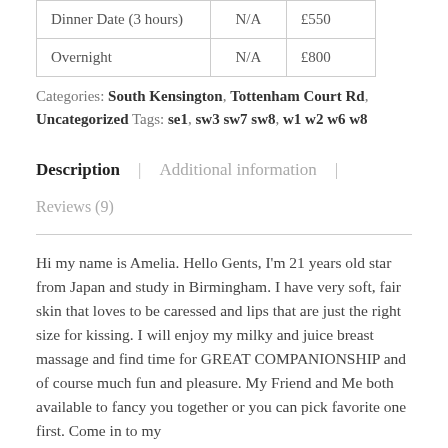|  |  |  |
| --- | --- | --- |
| Dinner Date (3 hours) | N/A | £550 |
| Overnight | N/A | £800 |
Categories: South Kensington, Tottenham Court Rd, Uncategorized Tags: se1, sw3 sw7 sw8, w1 w2 w6 w8
Description | Additional information | Reviews (9)
Hi my name is Amelia. Hello Gents, I'm 21 years old star from Japan and study in Birmingham. I have very soft, fair skin that loves to be caressed and lips that are just the right size for kissing. I will enjoy my milky and juice breast massage and find time for GREAT COMPANIONSHIP and of course much fun and pleasure. My Friend and Me both available to fancy you together or you can pick favorite one first. Come in to my